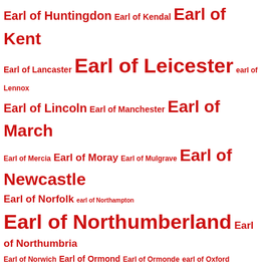[Figure (other): Tag cloud of English earldom titles in varying font sizes, all displayed in red/crimson color on white background. Larger text indicates more prominent/frequent titles. Includes: Earl of Huntingdon, Earl of Kendal, Earl of Kent, Earl of Lancaster, Earl of Leicester, earl of Lennox, Earl of Lincoln, Earl of Manchester, Earl of March, Earl of Mercia, Earl of Moray, Earl of Mulgrave, Earl of Newcastle, Earl of Norfolk, earl of Northampton, Earl of Northumberland, Earl of Northumbria, Earl of Norwich, Earl of Ormond, Earl of Ormonde, earl of Oxford, Earl of Pembroke, Earl of Richmond, Earl of Roseberry, Earl of Rutland, Earl of Salisbury, earl of Scarsdale, Earl of Shreswbury, Earl of Shrewsbury, Earl of Somerset, Earl of Southampton, Earl of Stafford, Earl of Stamford, Earl of Strafford, earl of Suffolk, Earl of Surrey, Earl of Sussex, Earl of Warwick, Earl of Westmoreland, Earl of Westmorland, Earl of Wiltshire, earl of Worcester, Earl Ogle, Earl Rivers, Earl of Scarborough, Earl of Warwick, Earl of Somerset, Earl of Stanhope]